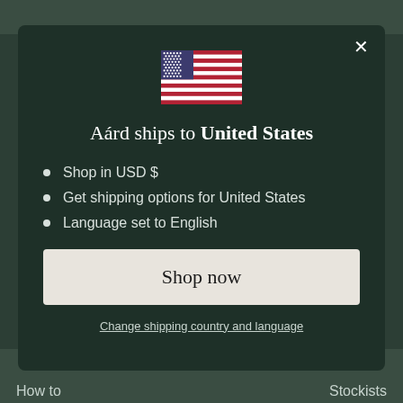[Figure (illustration): US flag emoji/icon displayed centered in the modal]
Aárd ships to United States
Shop in USD $
Get shipping options for United States
Language set to English
Shop now
Change shipping country and language
How to    Stockists